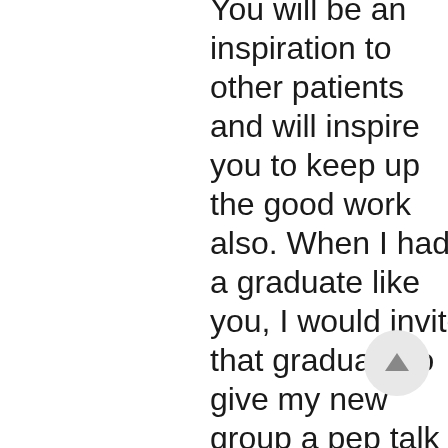You will be an inspiration to other patients and will inspire you to keep up the good work also. When I had a graduate like you, I would invite that graduate to give my new group a pep talk on the first day of class. They need to hear someone like you because, as you may remember, they